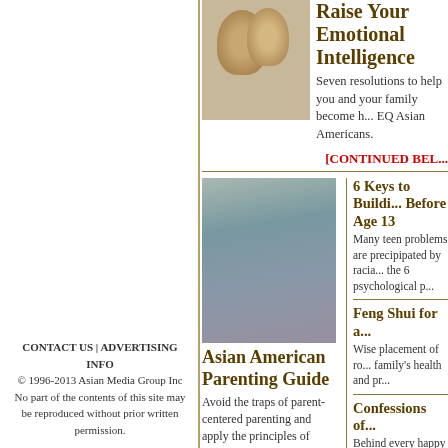[Figure (photo): Couple photo - man and woman smiling close together]
Raise Your Emotional Intelligence
Seven resolutions to help you and your family become higher EQ Asian Americans.
[CONTINUED BEL...
[Figure (photo): Group of Asian American children walking together outdoors]
Asian American Parenting Guide
Avoid the traps of parent-centered parenting and apply the principles of child-centered parenting to raise confident, effective kids with strong self-images.
6 Keys to Building... Before Age 13
Many teen problems are precipipated by racia... the 6 psychological p...
Feng Shui for a...
Wise placement of ro... family's health and pr...
Confessions of...
Behind every happy ... secrets.
Private School f...
Asian students are a h... genteel schools that v... WASPs.
CONTACT US | ADVERTISING INFO
© 1996-2013 Asian Media Group Inc
No part of the contents of this site may be reproduced without prior written permission.